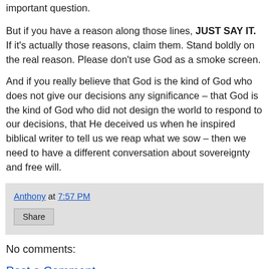important question.
But if you have a reason along those lines, JUST SAY IT. If it's actually those reasons, claim them. Stand boldly on the real reason. Please don't use God as a smoke screen.
And if you really believe that God is the kind of God who does not give our decisions any significance – that God is the kind of God who did not design the world to respond to our decisions, that He deceived us when he inspired biblical writer to tell us we reap what we sow – then we need to have a different conversation about sovereignty and free will.
Anthony at 7:57 PM
Share
No comments:
Post a Comment